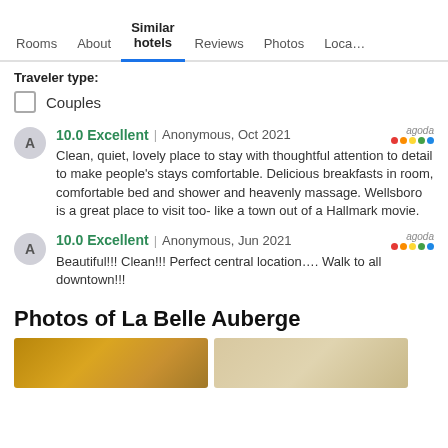Rooms | About | Similar hotels | Reviews | Photos | Loca…
Traveler type:
Couples
10.0 Excellent | Anonymous, Oct 2021 — Clean, quiet, lovely place to stay with thoughtful attention to detail to make people's stays comfortable. Delicious breakfasts in room, comfortable bed and shower and heavenly massage. Wellsboro is a great place to visit too- like a town out of a Hallmark movie.
10.0 Excellent | Anonymous, Jun 2021 — Beautiful!!! Clean!!! Perfect central location…. Walk to all downtown!!!
Photos of La Belle Auberge
[Figure (photo): Two hotel photos shown as thumbnails at the bottom of the page]